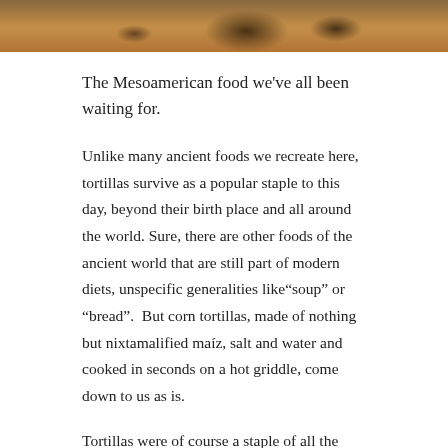[Figure (photo): Cropped bottom portion of a photo showing tortillas or food on a plate, warm brown tones]
The Mesoamerican food we've all been waiting for.
Unlike many ancient foods we recreate here, tortillas survive as a popular staple to this day, beyond their birth place and all around the world. Sure, there are other foods of the ancient world that are still part of modern diets, unspecific generalities like“soup” or “bread”.  But corn tortillas, made of nothing but nixtamalified maíz, salt and water and cooked in seconds on a hot griddle, come down to us as is.
Tortillas were of course a staple of all the famous societies of Ancient Mexico, including the Olmec, the Maya, and the Aztecs.  Both wealthy and poor people ate them regularly across history.  Only tamales surpass them as the aboriginal